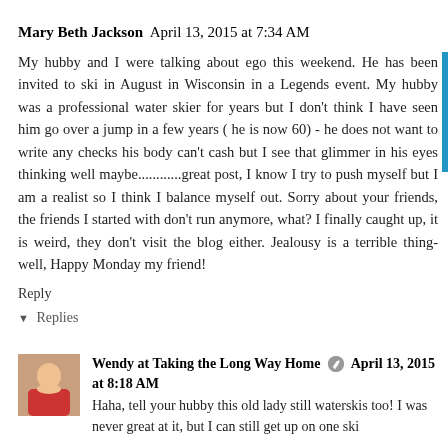Mary Beth Jackson  April 13, 2015 at 7:34 AM
My hubby and I were talking about ego this weekend. He has been invited to ski in August in Wisconsin in a Legends event. My hubby was a professional water skier for years but I don't think I have seen him go over a jump in a few years ( he is now 60) - he does not want to write any checks his body can't cash but I see that glimmer in his eyes thinking well maybe............great post, I know I try to push myself but I am a realist so I think I balance myself out. Sorry about your friends, the friends I started with don't run anymore, what? I finally caught up, it is weird, they don't visit the blog either. Jealousy is a terrible thing- well, Happy Monday my friend!
Reply
Replies
Wendy at Taking the Long Way Home  April 13, 2015 at 8:18 AM
Haha, tell your hubby this old lady still waterskis too! I was never great at it, but I can still get up on one ski